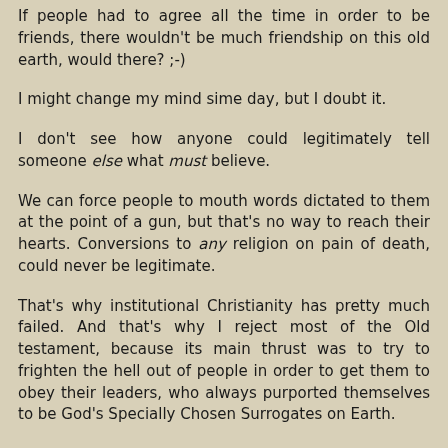If people had to agree all the time in order to be friends, there wouldn't be much friendship on this old earth, would there? ;-)
I might change my mind sime day, but I doubt it.
I don't see how anyone could legitimately tell someone else what must believe.
We can force people to mouth words dictated to them at the point of a gun, but that's no way to reach their hearts. Conversions to any religion on pain of death, could never be legitimate.
That's why institutional Christianity has pretty much failed. And that's why I reject most of the Old testament, because its main thrust was to try to frighten the hell out of people in order to get them to obey their leaders, who always purported themselves to be God's Specially Chosen Surrogates on Earth.